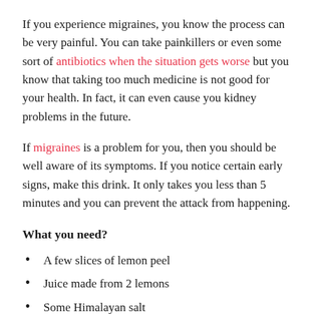If you experience migraines, you know the process can be very painful. You can take painkillers or even some sort of antibiotics when the situation gets worse but you know that taking too much medicine is not good for your health. In fact, it can even cause you kidney problems in the future.
If migraines is a problem for you, then you should be well aware of its symptoms. If you notice certain early signs, make this drink. It only takes you less than 5 minutes and you can prevent the attack from happening.
What you need?
A few slices of lemon peel
Juice made from 2 lemons
Some Himalayan salt